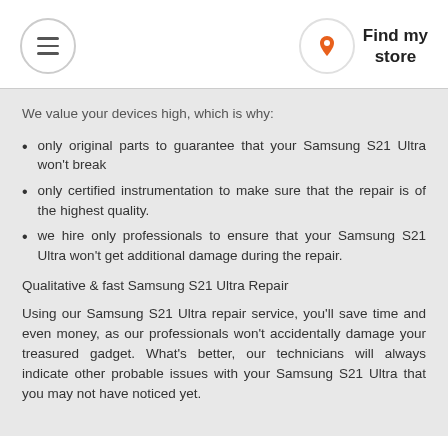Menu | Find my store
We value your devices high, which is why:
only original parts to guarantee that your Samsung S21 Ultra won't break
only certified instrumentation to make sure that the repair is of the highest quality.
we hire only professionals to ensure that your Samsung S21 Ultra won't get additional damage during the repair.
Qualitative & fast Samsung S21 Ultra Repair
Using our Samsung S21 Ultra repair service, you'll save time and even money, as our professionals won't accidentally damage your treasured gadget. What's better, our technicians will always indicate other probable issues with your Samsung S21 Ultra that you may not have noticed yet.